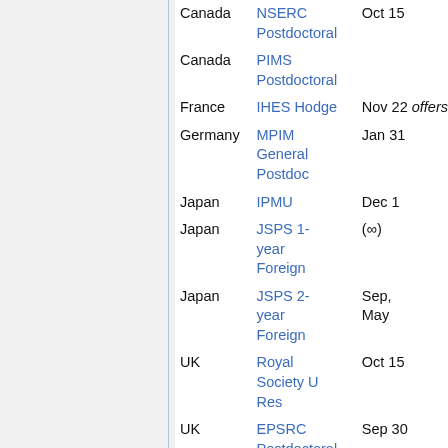| Country | Fellowship | Deadline |
| --- | --- | --- |
| Canada | NSERC Postdoctoral | Oct 15 |
| Canada | PIMS Postdoctoral |  |
| France | IHES Hodge | Nov 22 offers |
| Germany | MPIM General Postdoc | Jan 31 |
| Japan | IPMU | Dec 1 |
| Japan | JSPS 1-year Foreign | (∞) |
| Japan | JSPS 2-year Foreign | Sep, May |
| UK | Royal Society U Res | Oct 15 |
| UK | EPSRC Postdoctoral | Sep 30 |
| UK | Oxford-... | various |